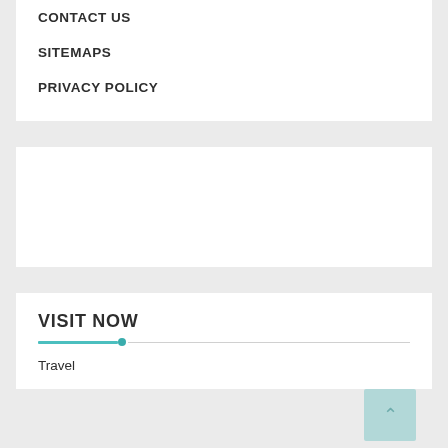CONTACT US
SITEMAPS
PRIVACY POLICY
[Figure (other): White empty content box placeholder area]
VISIT NOW
Travel
Theme of Rigorous Themes